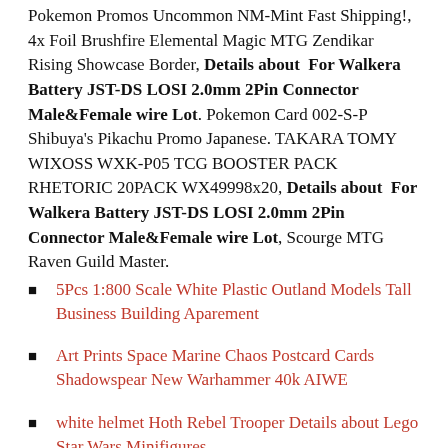Pokemon Promos Uncommon NM-Mint Fast Shipping!, 4x Foil Brushfire Elemental Magic MTG Zendikar Rising Showcase Border, Details about For Walkera Battery JST-DS LOSI 2.0mm 2Pin Connector Male&Female wire Lot. Pokemon Card 002-S-P Shibuya's Pikachu Promo Japanese. TAKARA TOMY WIXOSS WXK-P05 TCG BOOSTER PACK RHETORIC 20PACK WX49998x20, Details about For Walkera Battery JST-DS LOSI 2.0mm 2Pin Connector Male&Female wire Lot, Scourge MTG Raven Guild Master.
5Pcs 1:800 Scale White Plastic Outland Models Tall Business Building Aparement
Art Prints Space Marine Chaos Postcard Cards Shadowspear New Warhammer 40k AIWE
white helmet Hoth Rebel Trooper Details about Lego Star Wars Minifigures